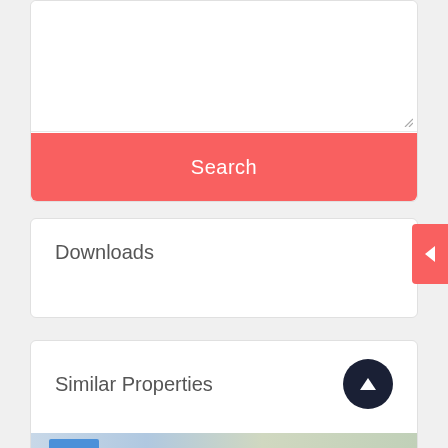[Figure (screenshot): Text area input field (empty, white background) with resize handle in bottom-right corner]
Search
Downloads
Similar Properties
[Figure (map): Partial map preview strip at the bottom of Similar Properties card with a blue button overlay]